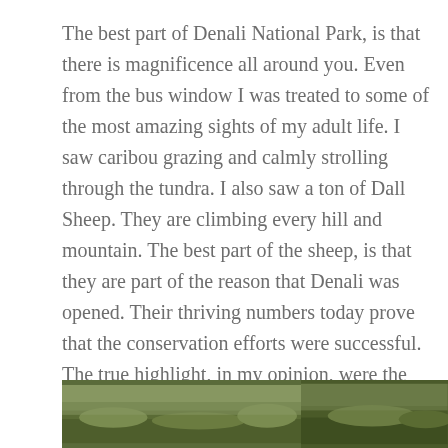The best part of Denali National Park, is that there is magnificence all around you. Even from the bus window I was treated to some of the most amazing sights of my adult life. I saw caribou grazing and calmly strolling through the tundra. I also saw a ton of Dall Sheep. They are climbing every hill and mountain. The best part of the sheep, is that they are part of the reason that Denali was opened. Their thriving numbers today prove that the conservation efforts were successful. The true highlight, in my opinion, were the bears. We saw bears a couple different times, but the very first time an adult bear and her two cubs were right next to our bus. The cubs were two years old, so they weren't super tiny, but they were precious.
[Figure (photo): Two landscape photos side by side showing tundra/wilderness terrain, partially cropped at bottom of page]